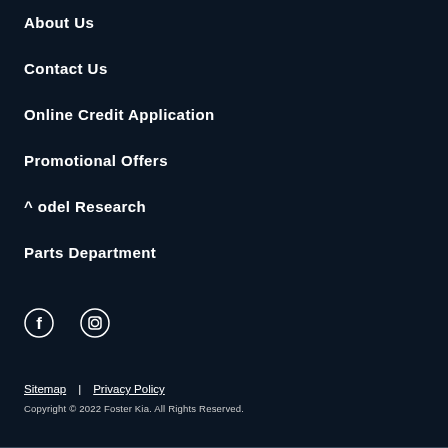About Us
Contact Us
Online Credit Application
Promotional Offers
^ odel Research
Parts Department
[Figure (illustration): Social media icons: Facebook (f) and Instagram (camera icon) in white on dark background]
Sitemap | Privacy Policy
Copyright © 2022 Foster Kia. All Rights Reserved.